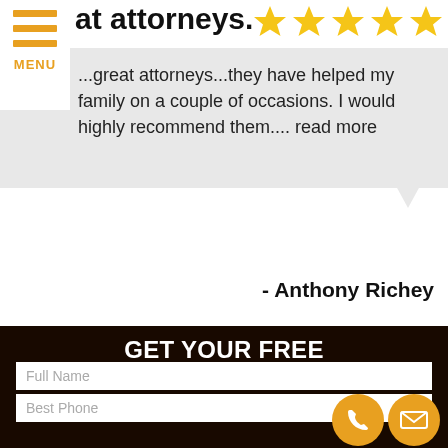[Figure (other): Hamburger menu icon with three orange horizontal lines and MENU text in orange]
[Figure (other): Five gold/yellow star rating icons]
...great attorneys...they have helped my family on a couple of occasions. I would highly recommend them.... read more
- Anthony Richey
GET YOUR FREE CONSULTATION
If you have any questions or comments please fill out the following form and one of our representatives will contact you as soon as possible.
Full Name
Best Phone